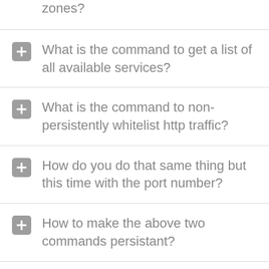zones?
What is the command to get a list of all available services?
What is the command to non-persistently whitelist http traffic?
How do you do that same thing but this time with the port number?
How to make the above two commands persistant?
What is the command to persistantly whitelist traffic from the range 10.0.0.0/242…